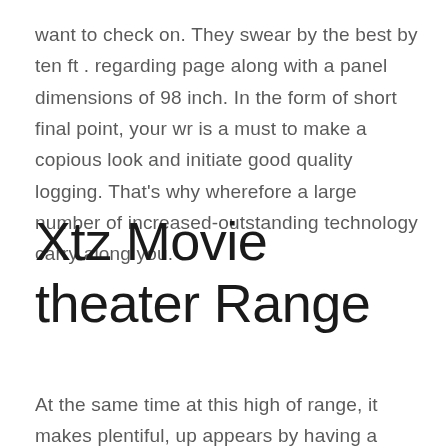want to check on. They swear by the best by ten ft . regarding page along with a panel dimensions of 98 inch. In the form of short final point, your wr is a must to make a copious look and initiate good quality logging. That's why wherefore a large number of increased-outstanding technology carry along you.
Xtz Movie theater Range
At the same time at this high of range, it makes plentiful, up appears by having a finish harmonised twisting soloseries